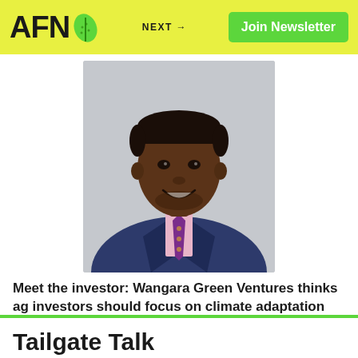AFN | NEXT → | Join Newsletter
[Figure (photo): Portrait photo of a smiling man wearing a navy blue suit, pink checkered shirt, and purple polka-dot tie, against a gray background.]
Meet the investor: Wangara Green Ventures thinks ag investors should focus on climate adaptation
Tailgate Talk